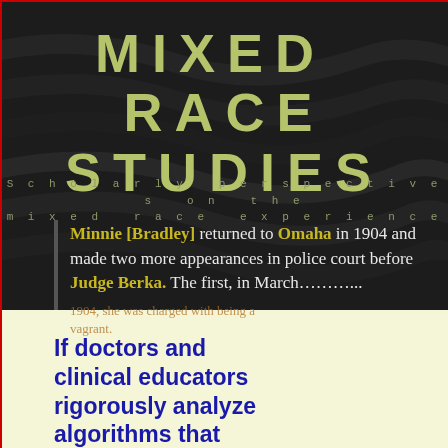MIXED RACE STUDIES
Scholarly perspectives on the mixed race experience.
Minnie [Bradley] returned to Omaha in 1904 and made two more appearances in police court before Judge Berka. The first, in March…
If doctors and clinical educators rigorously analyze algorithms that include race correction, they can judge, with fresh eyes, whether the